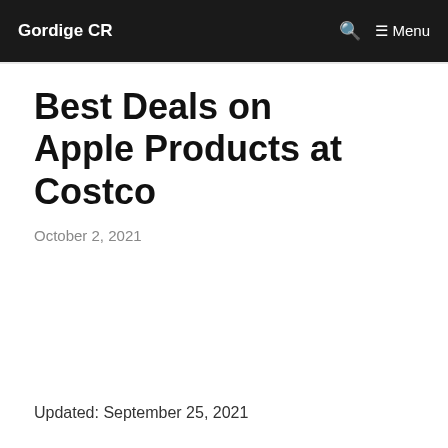Gordige CR  🔍  ≡ Menu
Best Deals on Apple Products at Costco
October 2, 2021
Updated: September 25, 2021